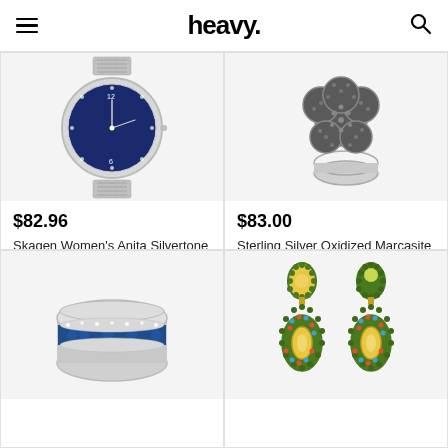heavy.
[Figure (photo): Skagen Women's Anita Silvertone Bracelet Watch with blue dial and mesh bracelet]
$82.96
Skagen Women's Anita Silvertone Bracelet Watch with Dark Blue Dial
From Amazon
[Figure (photo): Sterling Silver Oxidized Marcasite Flower Ring with dark marcasite stones set in silver]
$83.00
Sterling Silver Oxidized Marcasite Flower Ring
From Amazon
[Figure (photo): Blue diamond and white diamond band ring in sterling silver]
[Figure (photo): Colorful beaded drop earrings with green, yellow, and multi-color stones]